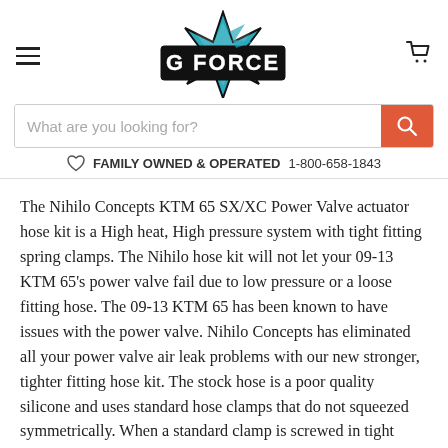[Figure (logo): G Force logo with star and bold stylized text, teal and black colors]
What are you looking for?
♡ FAMILY OWNED & OPERATED  1-800-658-1843
The Nihilo Concepts KTM 65 SX/XC Power Valve actuator hose kit is a High heat, High pressure system with tight fitting spring clamps. The Nihilo hose kit will not let your 09-13 KTM 65's power valve fail due to low pressure or a loose fitting hose. The 09-13 KTM 65 has been known to have issues with the power valve. Nihilo Concepts has eliminated all your power valve air leak problems with our new stronger, tighter fitting hose kit. The stock hose is a poor quality silicone and uses standard hose clamps that do not squeezed symmetrically. When a standard clamp is screwed in tight enough to hold the hose in place, it